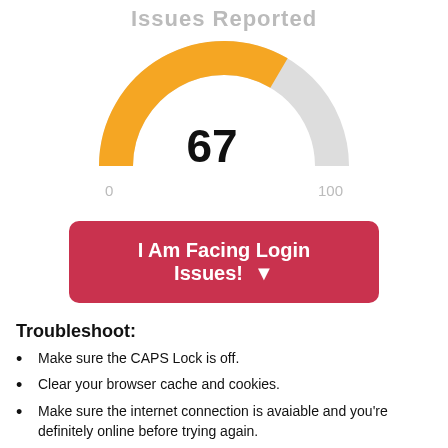Issues Reported
[Figure (donut-chart): A semicircular gauge showing value 67 out of 100. Orange arc covers ~67% from left (0) to about 2/3 right; remaining arc is light grey. The number 67 is displayed in large bold text at the center bottom of the gauge. Labels 0 and 100 appear below the left and right ends respectively.]
I Am Facing Login Issues! ▾
Troubleshoot:
Make sure the CAPS Lock is off.
Clear your browser cache and cookies.
Make sure the internet connection is avaiable and you're definitely online before trying again.
Avoid using VPN.
In case you have forgot your password then follow these instructions.